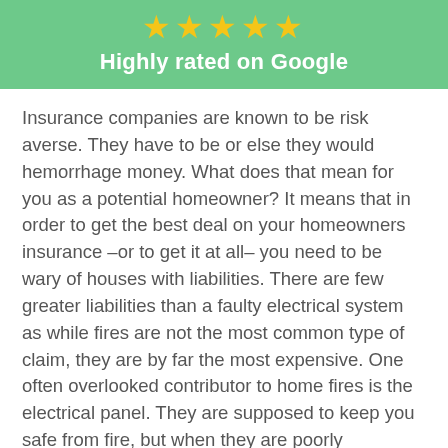[Figure (other): Five gold stars rating icon]
Highly rated on Google
Insurance companies are known to be risk averse. They have to be or else they would hemorrhage money. What does that mean for you as a potential homeowner? It means that in order to get the best deal on your homeowners insurance –or to get it at all– you need to be wary of houses with liabilities. There are few greater liabilities than a faulty electrical system as while fires are not the most common type of claim, they are by far the most expensive. One often overlooked contributor to home fires is the electrical panel. They are supposed to keep you safe from fire, but when they are poorly manufactured they can end up doing